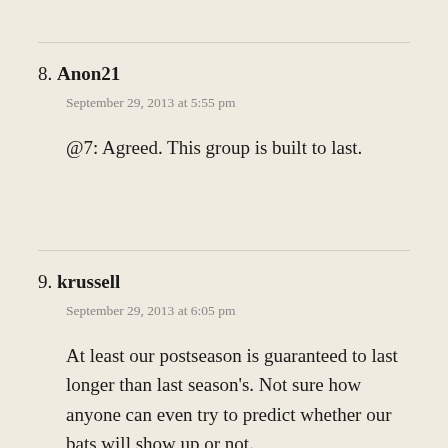8. Anon21
September 29, 2013 at 5:55 pm
@7: Agreed. This group is built to last.
9. krussell
September 29, 2013 at 6:05 pm
At least our postseason is guaranteed to last longer than last season's. Not sure how anyone can even try to predict whether our bats will show up or not.